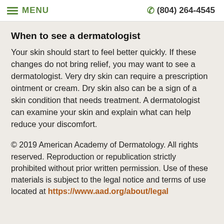≡ MENU  (804) 264-4545
When to see a dermatologist
Your skin should start to feel better quickly. If these changes do not bring relief, you may want to see a dermatologist. Very dry skin can require a prescription ointment or cream. Dry skin also can be a sign of a skin condition that needs treatment. A dermatologist can examine your skin and explain what can help reduce your discomfort.
© 2019 American Academy of Dermatology. All rights reserved. Reproduction or republication strictly prohibited without prior written permission. Use of these materials is subject to the legal notice and terms of use located at https://www.aad.org/about/legal